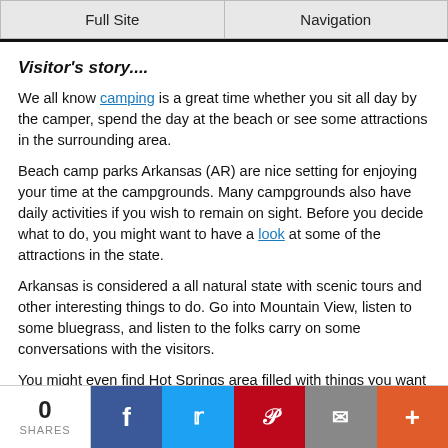Full Site | Navigation
Visitor's story....
We all know camping is a great time whether you sit all day by the camper, spend the day at the beach or see some attractions in the surrounding area.
Beach camp parks Arkansas (AR) are nice setting for enjoying your time at the campgrounds. Many campgrounds also have daily activities if you wish to remain on sight. Before you decide what to do, you might want to have a look at some of the attractions in the state.
Arkansas is considered a all natural state with scenic tours and other interesting things to do. Go into Mountain View, listen to some bluegrass, and listen to the folks carry on some conversations with the visitors.
You might even find Hot Springs area filled with things you want to see. The alligator farm and petting zoo or the Mountain Observation Tower, which I have heard leaves you with a beautiful memory and a
0 SHARES | Facebook | Twitter | Pinterest | Email | More